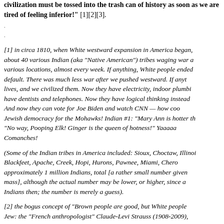civilization must be tossed into the trash can of history as soon as we are tired of feeling inferior!" [1][2][3].
[1] in circa 1810, when White westward expansion in America began, there were about 40 various Indian (aka "Native American") tribes waging war at various locations, almost every week. If anything, White people ended war by default. There was much less war after we pushed westward. If anything, we saved lives, and we civilized them. Now they have electricity, indoor plumbing. Now they have dentists and telephones. Now they have logical thinking instead of superstition. And now they can vote for Joe Biden and watch CNN — how cool is that? Jewish democracy for the Mohawks! Indian #1: "Mary Ann is hotter than Ginger!" #2: "No way, Pooping Elk! Ginger is the queen of hotness!" Yaaaaa! — the Comanches!
(Some of the Indian tribes in America included: Sioux, Choctaw, Illinois, Blackfeet, Apache, Creek, Hopi, Hurons, Pawnee, Miami, Chero... approximately 1 million Indians, total [a rather small number given the mass], although the actual number may be lower, or higher, since ... Indians then; the number is merely a guess).
[2] the bogus concept of "Brown people are good, but White people ..." Jew: the "French anthropologist" Claude-Levi Strauss (1908-2009), ... have led the anti-White political and racial movements in the Western ... multiculturalism. This huckster, Levi Strauss, is a great example...